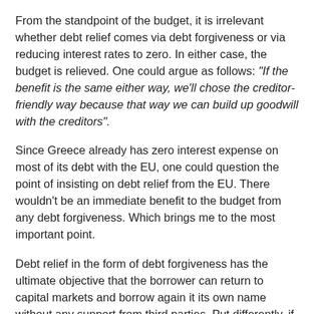From the standpoint of the budget, it is irrelevant whether debt relief comes via debt forgiveness or via reducing interest rates to zero. In either case, the budget is relieved. One could argue as follows: "If the benefit is the same either way, we'll chose the creditor-friendly way because that way we can build up goodwill with the creditors".
Since Greece already has zero interest expense on most of its debt with the EU, one could question the point of insisting on debt relief from the EU. There wouldn't be an immediate benefit to the budget from any debt forgiveness. Which brings me to the most important point.
Debt relief in the form of debt forgiveness has the ultimate objective that the borrower can return to capital markets and borrow again it its own name without any support from third parties. Put differently, if all of Greece's debt were forgiven, the major benefit would not be so much the fact that there would no longer be interest expense. The major benefit of such a decision would be that Greece could start (again) to borrow in international markets.